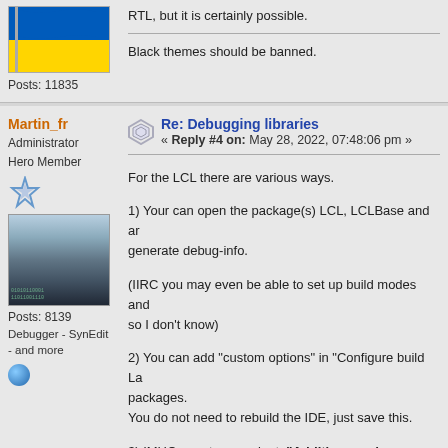RTL, but it is certainly possible.
Posts: 11835
Black themes should be banned.
Martin_fr
Administrator
Hero Member
Posts: 8139
Debugger - SynEdit - and more
Re: Debugging libraries
« Reply #4 on: May 28, 2022, 07:48:06 pm »
For the LCL there are various ways.
1) Your can open the package(s) LCL, LCLBase and ar... generate debug-info.
(IIRC you may even be able to set up build modes and... so I don't know)
2) You can add "custom options" in "Configure build La... packages.
You do not need to rebuild the IDE, just save this.
3) IMHO, most convenient: "Additions and Overrides..."
(see wiki for documentation)
You can in your project settings (and therefore individua... of packages.
So for debug info you add -O-1 -gw3 (or -gw -godwarfs...
And you can toggle this by build-modes.